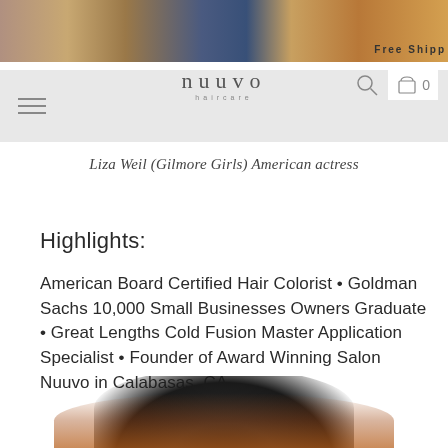[Figure (photo): Top portion of a photo showing women with long hair, partially cropped at top of page]
Free Shipp
[Figure (logo): Nuuvo haircare logo with hamburger menu, search icon, and shopping bag icon in a light gray navigation bar]
Liza Weil (Gilmore Girls) American actress
Highlights:
American Board Certified Hair Colorist • Goldman Sachs 10,000 Small Businesses Owners Graduate • Great Lengths Cold Fusion Master Application Specialist • Founder of Award Winning Salon Nuuvo in Calabasas, CA.
[Figure (photo): Bottom portion of a circular photo showing a person, cropped at bottom of page]